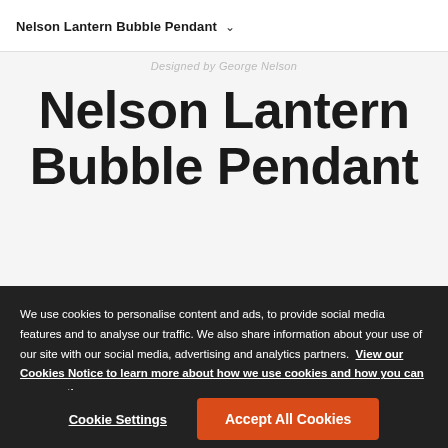Nelson Lantern Bubble Pendant ∨
Designed by George Nelson
Nelson Lantern Bubble Pendant
We use cookies to personalise content and ads, to provide social media features and to analyse our traffic. We also share information about your use of our site with our social media, advertising and analytics partners. View our Cookies Notice to learn more about how we use cookies and how you can manage them.
Cookie Settings
Accept All Cookies